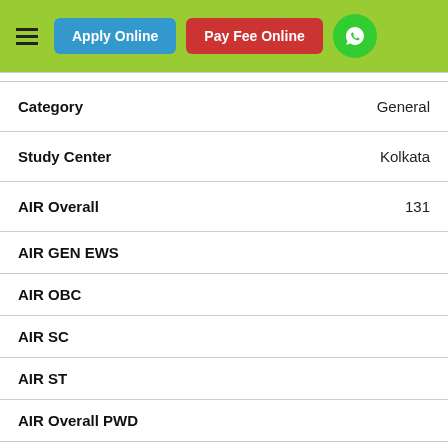Apply Online | Pay Fee Online | WhatsApp
| Field | Value |
| --- | --- |
| Category | General |
| Study Center | Kolkata |
| AIR Overall | 131 |
| AIR GEN EWS |  |
| AIR OBC |  |
| AIR SC |  |
| AIR ST |  |
| AIR Overall PWD |  |
| AIR GEN EWS PWD |  |
| AIR OBC PWD |  |
| AIR SC PWD |  |